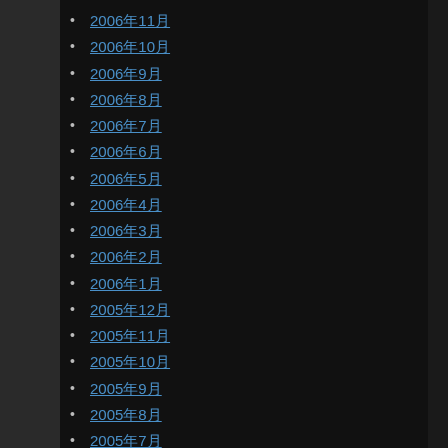2006年11月
2006年10月
2006年9月
2006年8月
2006年7月
2006年6月
2006年5月
2006年4月
2006年3月
2006年2月
2006年1月
2005年12月
2005年11月
2005年10月
2005年9月
2005年8月
2005年7月
2005年6月
2005年5月
2005年4月
2005年3月